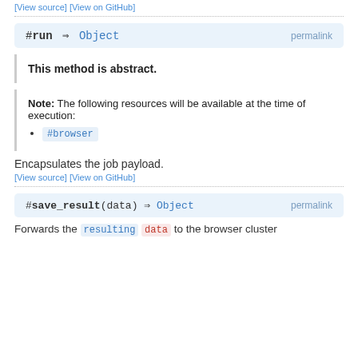[View source] [View on GitHub]
#run ⇒ Object  permalink
This method is abstract.
Note: The following resources will be available at the time of execution:
#browser
Encapsulates the job payload.
[View source] [View on GitHub]
#save_result(data) ⇒ Object  permalink
Forwards the resulting data to the browser cluster